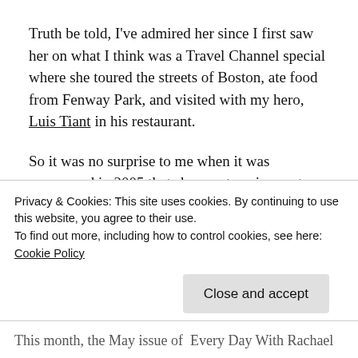Truth be told, I've admired her since I first saw her on what I think was a Travel Channel special where she toured the streets of Boston, ate food from Fenway Park, and visited with my hero, Luis Tiant in his restaurant.
So it was no surprise to me when it was announced in 2005 that she was teaming up to launch a magazine based on her popular TV series. It was thrilling to learn that it was a circulation and advertising hit. She had the right demographic, the timing was right, and while I'm in the wrong demographic, I had to admit that the magazine was well done.
Privacy & Cookies: This site uses cookies. By continuing to use this website, you agree to their use.
To find out more, including how to control cookies, see here: Cookie Policy
Close and accept
This month, the May issue of  Every Day With Rachael